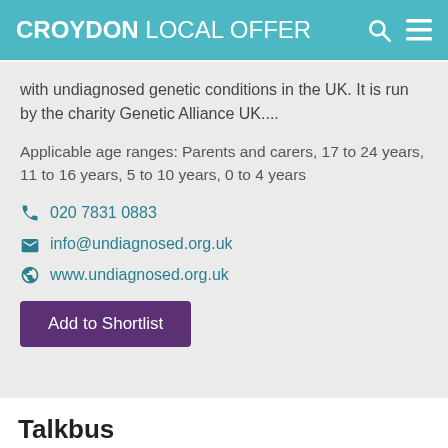CROYDON LOCAL OFFER
with undiagnosed genetic conditions in the UK. It is run by the charity Genetic Alliance UK....
Applicable age ranges: Parents and carers, 17 to 24 years, 11 to 16 years, 5 to 10 years, 0 to 4 years
020 7831 0883
info@undiagnosed.org.uk
www.undiagnosed.org.uk
Add to Shortlist
Talkbus
Talkbus is a mobile information centre and support service which travels around Croydon visiting high streets, neighbourhoods, schools, colleges, community groups, youth centres and